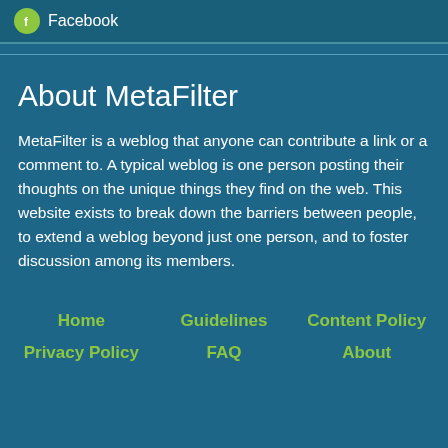Facebook
About MetaFilter
MetaFilter is a weblog that anyone can contribute a link or a comment to. A typical weblog is one person posting their thoughts on the unique things they find on the web. This website exists to break down the barriers between people, to extend a weblog beyond just one person, and to foster discussion among its members.
Home
Guidelines
Content Policy
Privacy Policy
FAQ
About